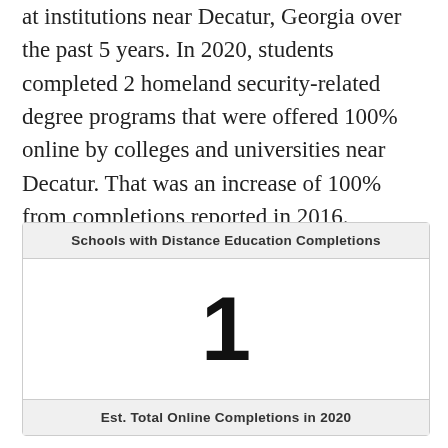at institutions near Decatur, Georgia over the past 5 years. In 2020, students completed 2 homeland security-related degree programs that were offered 100% online by colleges and universities near Decatur. That was an increase of 100% from completions reported in 2016.
| Schools with Distance Education Completions | Est. Total Online Completions in 2020 |
| --- | --- |
| 1 |  |